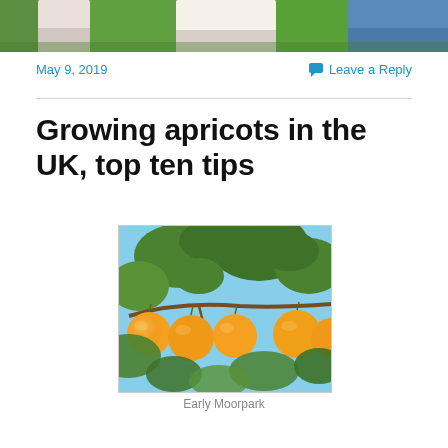[Figure (photo): Top portion of a photo showing people standing outdoors on grass]
May 9, 2019
Leave a Reply
Growing apricots in the UK, top ten tips
[Figure (photo): Close-up photo of apricots (Early Moorpark variety) on a branch with green leaves against a blue sky]
Early Moorpark